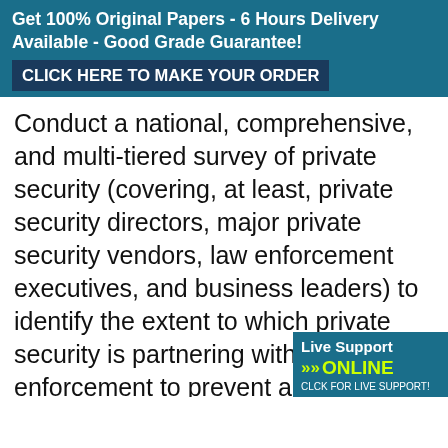Get 100% Original Papers - 6 Hours Delivery Available - Good Grade Guarantee! CLICK HERE TO MAKE YOUR ORDER
Conduct a national, comprehensive, and multi-tiered survey of private security (covering, at least, private security directors, major private security vendors, law enforcement executives, and business leaders) to identify the extent to which private security is partnering with public law enforcement to prevent and respond to terrorism and public disorder. The purpose is to identify best practices, innovation, leadership, strategic planning, joint training, communication, information exchange, joint operations, obstacles, and critical infrastructure. This project will be an update and expansion of th